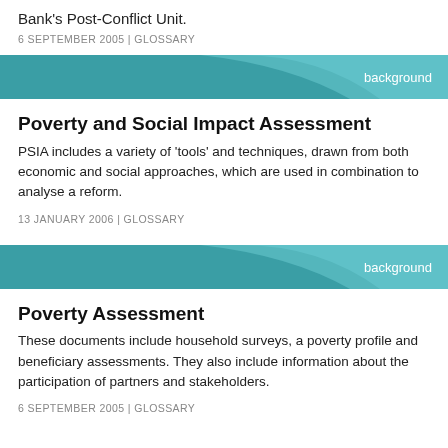Bank's Post-Conflict Unit.
6 SEPTEMBER 2005 | GLOSSARY
[Figure (other): Teal decorative banner with 'background' label on the right]
Poverty and Social Impact Assessment
PSIA includes a variety of 'tools' and techniques, drawn from both economic and social approaches, which are used in combination to analyse a reform.
13 JANUARY 2006 | GLOSSARY
[Figure (other): Teal decorative banner with 'background' label on the right]
Poverty Assessment
These documents include household surveys, a poverty profile and beneficiary assessments. They also include information about the participation of partners and stakeholders.
6 SEPTEMBER 2005 | GLOSSARY